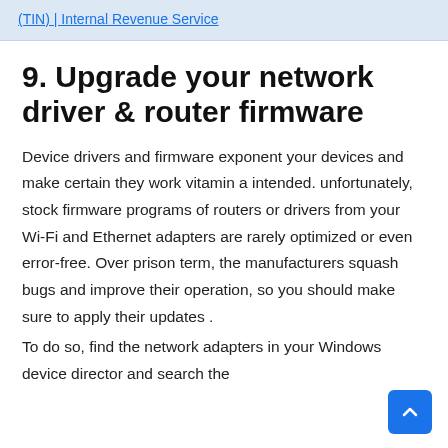(TIN) | Internal Revenue Service
9. Upgrade your network driver & router firmware
Device drivers and firmware exponent your devices and make certain they work vitamin a intended. unfortunately, stock firmware programs of routers or drivers from your Wi-Fi and Ethernet adapters are rarely optimized or even error-free. Over prison term, the manufacturers squash bugs and improve their operation, so you should make sure to apply their updates .
To do so, find the network adapters in your Windows device director and search the